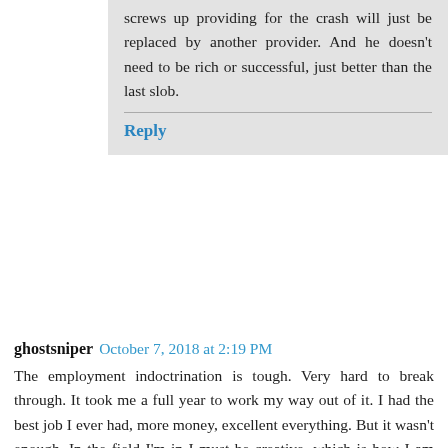screws up providing for the crash will just be replaced by another provider. And he doesn't need to be rich or successful, just better than the last slob.
Reply
ghostsniper  October 7, 2018 at 2:19 PM
The employment indoctrination is tough. Very hard to break through. It took me a full year to work my way out of it. I had the best job I ever had, more money, excellent everything. But it wasn't enough. In the field I'm in I must be creative, which is how I am naturally. Born that way. But my excellent job was not capable of letting me exercise all of my creative needs.
An option happened by, someone asked me to create a design for a building, for money. I took it on. I worked on it at night and on the weekends while working my full time job. I liked it. When that project was completed the owner